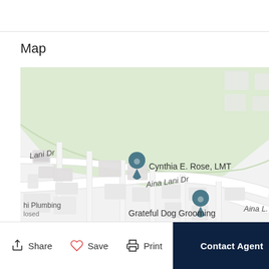Map
[Figure (map): Street map showing the location of Cynthia E. Rose, LMT on Aina Lani Dr. Also visible: Grateful Dog Grooming, hi Plumbing (closed), street labels 'Lani Dr', 'Aina Lani Dr', 'Aina L.' A green park/field area is visible in the upper portion of the map.]
Share  Save  Print  Contact Agent